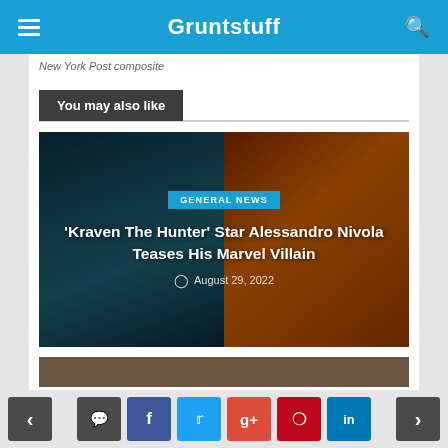Gruntstuff
New York Post composite
You may also like
[Figure (photo): Article card with dark teal left half showing a man's face and orange/brown right half showing a comic book Marvel villain character. Overlay text reads 'GENERAL NEWS' tag, ''Kraven The Hunter' Star Alessandro Nivola Teases His Marvel Villain', and date 'August 29, 2022'.]
[Figure (photo): Partial view of a second article card image, cropped at the bottom of the page.]